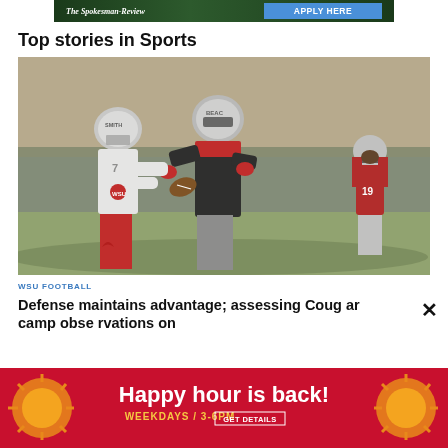[Figure (logo): The Spokesman-Review newspaper banner with 'APPLY HERE' button in blue]
Top stories in Sports
[Figure (photo): WSU football practice photo showing players in white and red uniforms, one player in red catching a ball while a defender in white attempts to tackle, another player in red visible in background]
WSU FOOTBALL
Defense maintains advantage; assessing Cougar camp observations on
[Figure (other): Advertisement banner: 'Happy hour is back! WEEKDAYS / 3-6PM GET DETAILS' on red background with stylized sun/orange logo graphics]